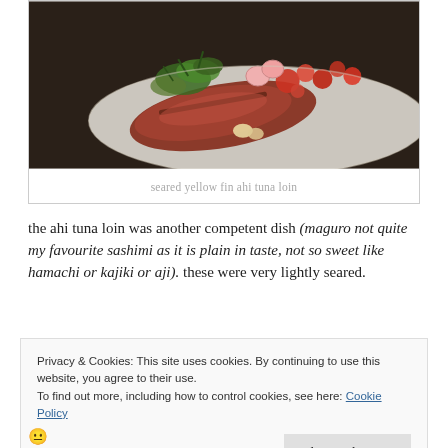[Figure (photo): A plate of seared yellow fin ahi tuna loin garnished with microgreens, radish slices, and red tomato pieces on a white plate]
seared yellow fin ahi tuna loin
the ahi tuna loin was another competent dish (maguro not quite my favourite sashimi as it is plain in taste, not so sweet like hamachi or kajiki or aji). these were very lightly seared.
Privacy & Cookies: This site uses cookies. By continuing to use this website, you agree to their use.
To find out more, including how to control cookies, see here: Cookie Policy